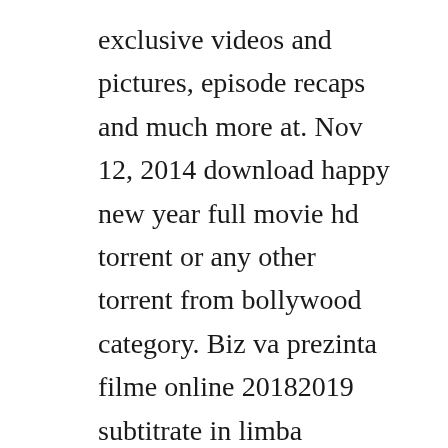exclusive videos and pictures, episode recaps and much more at. Nov 12, 2014 download happy new year full movie hd torrent or any other torrent from bollywood category. Biz va prezinta filme online 20182019 subtitrate in limba romana. Desene, desene actiune, desene aventura, desene comedie, desene disney, desene jetix. Dec 08, 2017 blended 2014 din greseala impreuna 2014 film online subtitrat filme online 2014 gratis subtitrate in romana, filme subtitrate, filme hd, seriale online, filme. Blended 2014 din greseala impreuna 2014 film online subtitrat filme online 2014